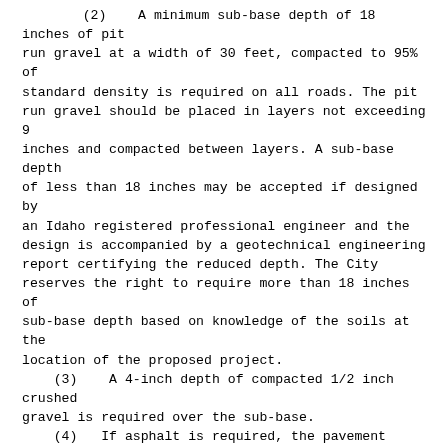(2)   A minimum sub-base depth of 18 inches of pit run gravel at a width of 30 feet, compacted to 95% of standard density is required on all roads. The pit run gravel should be placed in layers not exceeding 9 inches and compacted between layers. A sub-base depth of less than 18 inches may be accepted if designed by an Idaho registered professional engineer and the design is accompanied by a geotechnical engineering report certifying the reduced depth. The City reserves the right to require more than 18 inches of sub-base depth based on knowledge of the soils at the location of the proposed project.
(3)   A 4-inch depth of compacted 1/2 inch crushed gravel is required over the sub-base.
(4)   If asphalt is required, the pavement shall be a minimum 24 feet wide with a minimum depth of 2.5 inches. New roads that intersect with an existing paved road will be required to be paved to the right'-of-way line of the existing road, with a minimum 30' radius at the intersection. An asphalt shall meet or exceed The City of Menan pavement mix requirements. A copy of the mix design can be obtained from the Menan Road and Bridge Department. A certified materials testing company shall conduct asphalt mix design, temperature, and compaction